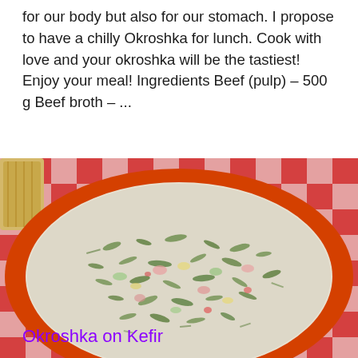for our body but also for our stomach. I propose to have a chilly Okroshka for lunch. Cook with love and your okroshka will be the tastiest! Enjoy your meal! Ingredients Beef (pulp) – 500 g Beef broth – ...
[Figure (photo): A bowl of Okroshka (cold Russian soup) in a red/orange bowl placed on a red and white checkered tablecloth. The soup is creamy white with green herbs, vegetables visible throughout. Bread or crackers visible at top left.]
Okroshka on Kefir